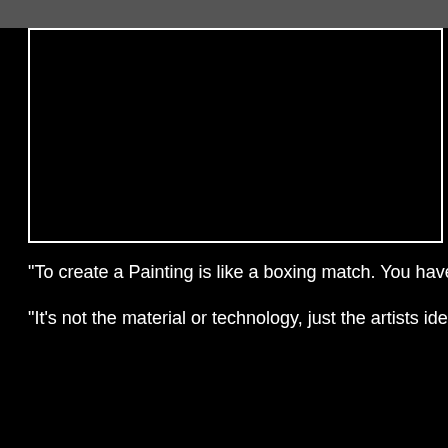[Figure (photo): A black rectangular image with a white border, displayed against a black background. The interior is completely black.]
“To create a Painting is like a boxing match. You have to g
“It’s not the material or technology, just the artists idea cre